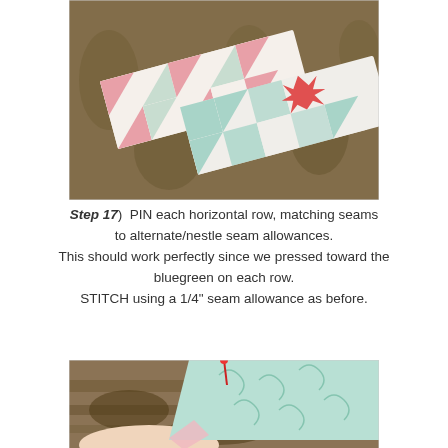[Figure (photo): Two quilt rows with pink and teal/green patchwork triangle and star blocks laid out on a floral carpet background]
Step 17)  PIN each horizontal row, matching seams to alternate/nestle seam allowances. This should work perfectly since we pressed toward the bluegreen on each row. STITCH using a 1/4" seam allowance as before.
[Figure (photo): Close-up photo of fabric being pinned together, showing teal/mint patterned fabric being held with a red pin, on a brown carpet background]